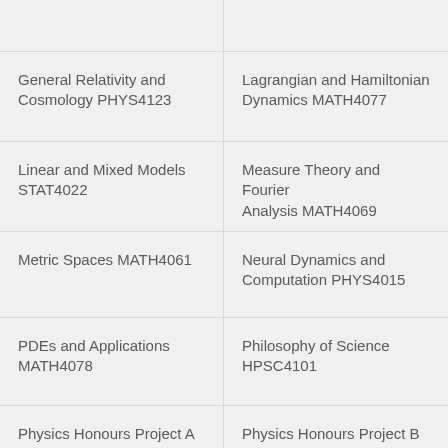General Relativity and Cosmology PHYS4123
Lagrangian and Hamiltonian Dynamics MATH4077
Linear and Mixed Models STAT4022
Measure Theory and Fourier Analysis MATH4069
Metric Spaces MATH4061
Neural Dynamics and Computation PHYS4015
PDEs and Applications MATH4078
Philosophy of Science HPSC4101
Physics Honours Project A PHYS4103
Physics Honours Project B PHYS4104
Physics Honours Project C (partial)
Physics Honours Project D (partial)